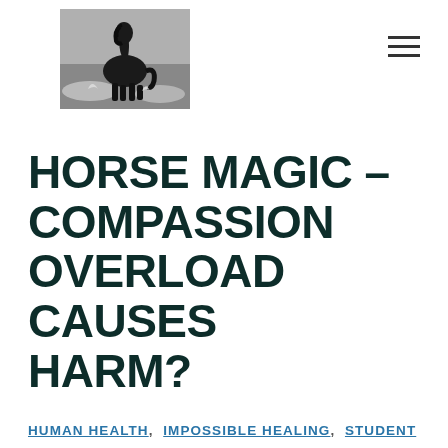[Figure (photo): Black and white photo of a horse running through water, splashing waves around it]
HORSE MAGIC – COMPASSION OVERLOAD CAUSES HARM?
HUMAN HEALTH, IMPOSSIBLE HEALING, STUDENT